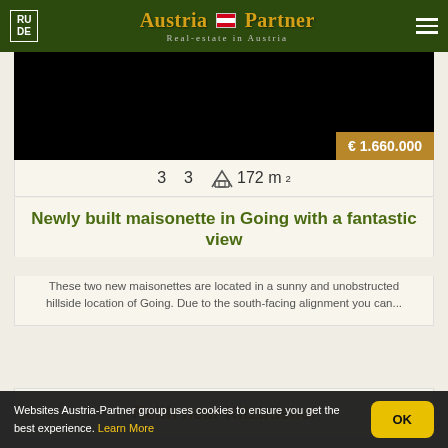Austria-Partner Real-estate in Austria
[Figure (photo): Dark property photo with price badge showing € 1.660.000]
3   3   172 m²
Newly built maisonette in Going with a fantastic view
These two new maisonettes are located in a sunny and unobstructed hillside location of Going. Due to the south-facing alignment you can...
Reith near Kitzbüebel
Websites Austria-Partner group uses cookies to ensure you get the best experience. Learn More